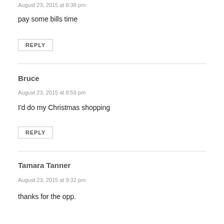August 23, 2015 at 8:38 pm
pay some bills time
REPLY
Bruce
August 23, 2015 at 8:59 pm
I'd do my Christmas shopping
REPLY
Tamara Tanner
August 23, 2015 at 9:32 pm
thanks for the opp.